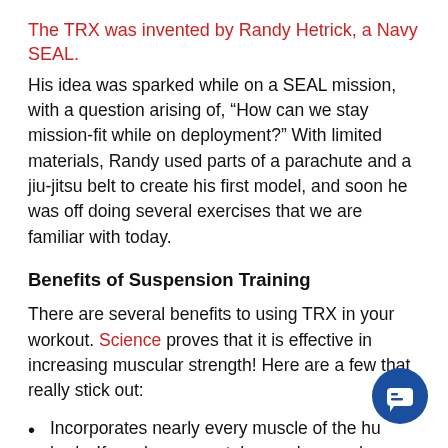The TRX was invented by Randy Hetrick, a Navy SEAL.
His idea was sparked while on a SEAL mission, with a question arising of, “How can we stay mission-fit while on deployment?” With limited materials, Randy used parts of a parachute and a jiu-jitsu belt to create his first model, and soon he was off doing several exercises that we are familiar with today.
Benefits of Suspension Training
There are several benefits to using TRX in your workout. Science proves that it is effective in increasing muscular strength! Here are a few that really stick out:
Incorporates nearly every muscle of the human body. If you have ever taken a class or done